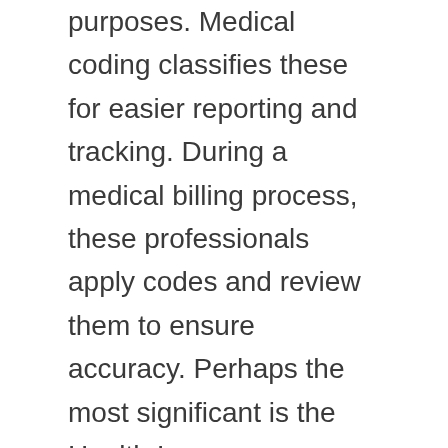purposes. Medical coding classifies these for easier reporting and tracking. During a medical billing process, these professionals apply codes and review them to ensure accuracy. Perhaps the most significant is the Health Insurance Portability and Accountability Act (HIPAA). Accurate coding and billing ensure that practices are in contractual compliance. You have to keep compliance in mind on a daily basis when working within this field. HIPAA protects patient confidentiality, requiring any medical practice or hospital to take safeguards to protect confidential patient information. Accuracy in both of these areas is critical to patient safety, rapid payment and efficient operations. Finding and fixing this problem ensures that it and it